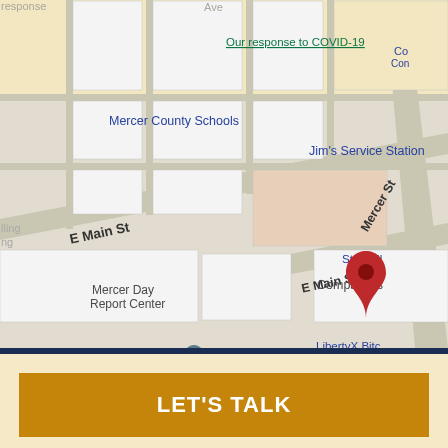[Figure (map): Google Maps screenshot showing Compassus location near Mercer County Schools, Jim's Service Station, Mercer Day Report Center, State Electric, LibertyX Bitc, Grant's IGA Supe, Toler AC, with streets E Main St and Mercer St visible. Red pin marker on Compassus. Zoom controls (+/-) visible bottom right. Google logo and Keyboard shortcuts, Map data ©2022, Terms of Use at bottom.]
LET'S TALK